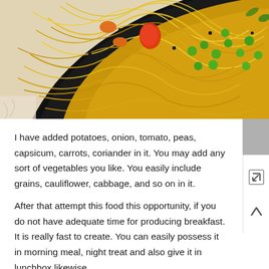[Figure (photo): A black plate filled with yellow/golden vermicelli noodles (sevaiyan) stir-fried with colorful vegetables including green peas, red tomato, orange carrots on a light background.]
I have added potatoes, onion, tomato, peas, capsicum, carrots, coriander in it. You may add any sort of vegetables you like. You easily include grains, cauliflower, cabbage, and so on in it.
After that attempt this food this opportunity, if you do not have adequate time for producing breakfast. It is really fast to create. You can easily possess it in morning meal, night treat and also give it in lunchbox likewise.
For helping make namkeen sevivan you can easily buy sevivan from